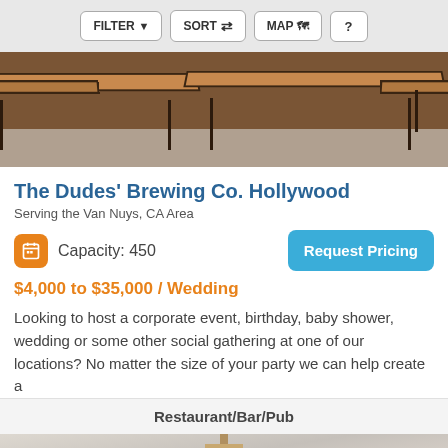FILTER  SORT  MAP  ?
[Figure (photo): Interior photo of a brewery/restaurant with long wooden bench tables and metal legs on a concrete floor]
The Dudes' Brewing Co. Hollywood
Serving the Van Nuys, CA Area
Capacity: 450
$4,000 to $35,000 / Wedding
Looking to host a corporate event, birthday, baby shower, wedding or some other social gathering at one of our locations? No matter the size of your party we can help create a
Restaurant/Bar/Pub
[Figure (photo): Interior photo of a venue with chandelier and white ceiling, showing a Fast Response badge overlay]